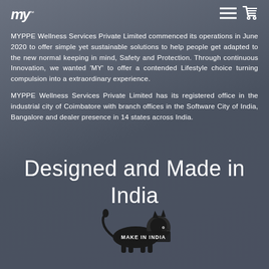MY™
MYPPE Wellness Services Private Limited commenced its operations in June 2020 to offer simple yet sustainable solutions to help people get adapted to the new normal keeping in mind, Safety and Protection. Through continuous Innovation, we wanted 'MY' to offer a contended Lifestyle choice turning compulsion into a extraordinary experience.
MYPPE Wellness Services Private Limited has its registered office in the industrial city of Coimbatore with branch offices in the Software City of India, Bangalore and dealer presence in 14 states across India.
Designed and Made in India
[Figure (logo): Make in India lion logo with text MAKE IN INDIA]